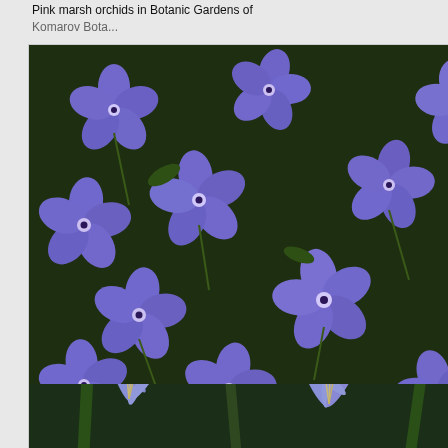Pink marsh orchids in Botanic Gardens of Komarov Botanical Institute. Saint Petersburg...
[Figure (photo): Blue/purple geranium flowers covering the frame, photographed in Botanic Gardens of Komarov Botanical Institute]
.../2017/2083/17.htm    similar
Blue flowers of geranium in Botanic Gardens of Komarov Botanical Institute. Saint Petersburg, Russia, July 4, 2017
[Figure (photo): Blue/purple star-shaped flowers (agapanthus or similar), close-up view with green foliage in background]